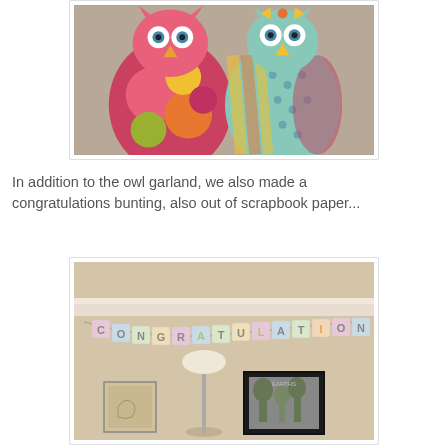[Figure (photo): Two decorative owl figures made from scrapbook paper — one with colorful polka dots (pink, red, orange, yellow, olive) and one with stripes and teal dotted pattern — displayed against a light background.]
In addition to the owl garland, we also made a congratulations bunting, also out of scrapbook paper...
[Figure (photo): A 'CONGRATULATIONS' bunting banner made from colorful scrapbook paper letters hanging on a wall, with framed pictures and a lamp visible below.]